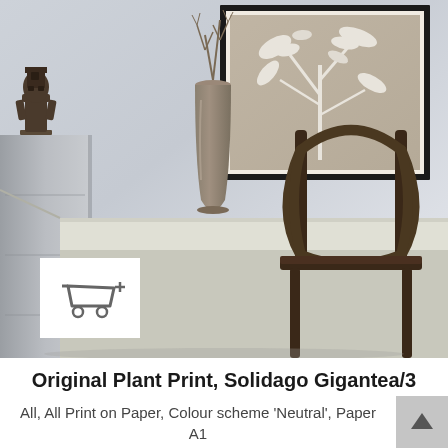[Figure (photo): Interior room photo showing a framed botanical plant print on a grey-blue wall, a wooden vase with bare branches on a whitewashed desk/table, a dark wooden bentwood chair on the right, an African sculpture on a cabinet on the left, and an add-to-cart button overlay in the lower left corner of the image.]
Original Plant Print, Solidago Gigantea/3
All, All Print on Paper, Colour scheme 'Neutral', Paper A1 (59.4 x 84 cm)